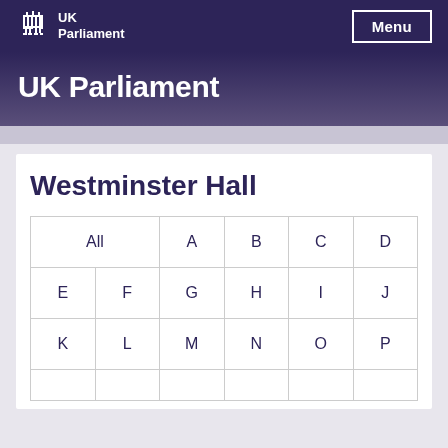UK Parliament
UK Parliament
Westminster Hall
| All | A | B | C | D |
| --- | --- | --- | --- | --- |
| E | F | G | H | I | J |
| K | L | M | N | O | P |